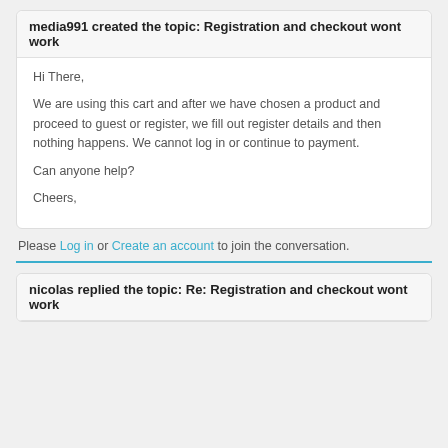media991 created the topic: Registration and checkout wont work
Hi There,

We are using this cart and after we have chosen a product and proceed to guest or register, we fill out register details and then nothing happens. We cannot log in or continue to payment.

Can anyone help?

Cheers,
Please Log in or Create an account to join the conversation.
nicolas replied the topic: Re: Registration and checkout wont work